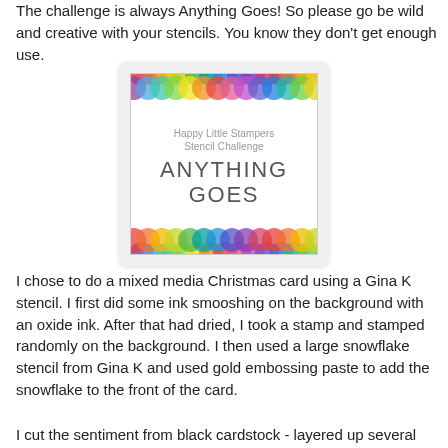The challenge is always Anything Goes!  So please go be wild and creative with your stencils.  You know they don't get enough use.
[Figure (illustration): Happy Little Stampers Stencil Challenge badge with rainbow scallop borders top and bottom and text reading 'Happy Little Stampers Stencil Challenge ANYTHING GOES' in grey on white background]
I chose to do a mixed media Christmas card using a Gina K stencil.  I first did some ink smooshing on the background with an oxide ink.  After that had dried, I took a stamp and stamped randomly on the background.  I then used a large snowflake stencil from Gina K and used gold embossing paste to add the snowflake to the front of the card.
I cut the sentiment from black cardstock - layered up several